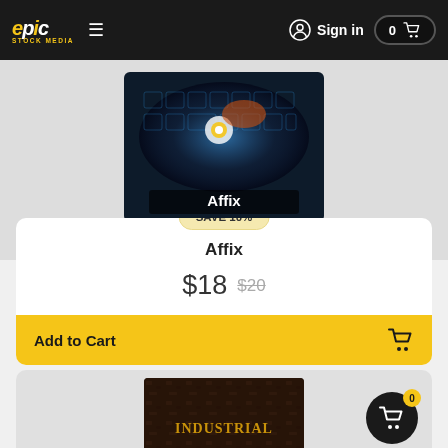Epic Stock Media — Sign in — Cart: 0
[Figure (screenshot): Affix product cover image showing glowing fantasy/game art with keyboard keys and orange sparks on dark blue background, with 'Affix' text overlay]
SAVE 10%
Affix
$18 $20
Add to Cart
[Figure (screenshot): Second product card showing 'INDUSTRIAL' text on dark textured background, partially visible]